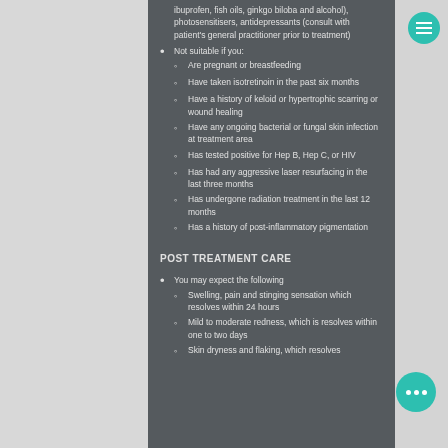ibuprofen, fish oils, ginkgo biloba and alcohol), photosensitisers, antidepressants (consult with patient's general practitioner prior to treatment)
Not suitable if you:
Are pregnant or breastfeeding
Have taken isotretinoin in the past six months
Have a history of keloid or hypertrophic scarring or wound healing
Have any ongoing bacterial or fungal skin infection at treatment area
Has tested positive for Hep B, Hep C, or HIV
Has had any aggressive laser resurfacing in the last three months
Has undergone radiation treatment in the last 12 months
Has a history of post-inflammatory pigmentation
POST TREATMENT CARE
You may expect the following
Swelling, pain and stinging sensation which resolves within 24 hours
Mild to moderate redness, which is resolves within one to two days
Skin dryness and flaking, which resolves within 3 days